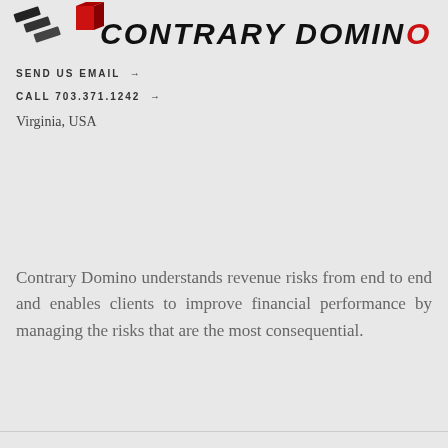[Figure (logo): Contrary Domino company logo with diagonal stripe marks and a red 3D cube, with bold stylized text reading CONTRARY DOMINO]
SEND US EMAIL →
CALL 703.371.1242 →
Virginia, USA
Contrary Domino understands revenue risks from end to end and enables clients to improve financial performance by managing the risks that are the most consequential.